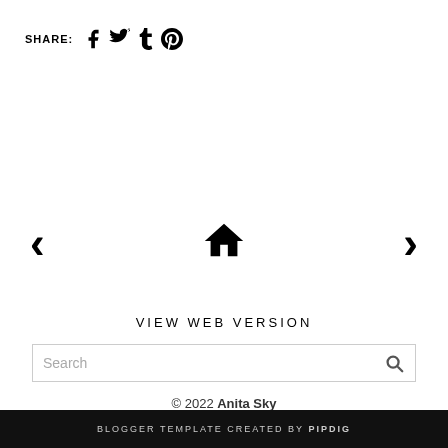SHARE: f t p (social icons)
[Figure (infographic): Navigation row with left chevron, home icon, right chevron]
VIEW WEB VERSION
Search (search bar with magnifier icon)
© 2022 Anita Sky
BLOGGER TEMPLATE CREATED BY pipdig